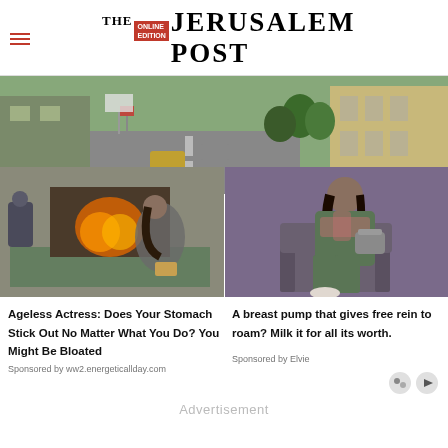THE JERUSALEM POST
[Figure (photo): Street scene photo showing a road with cars, buildings, and trees in a city]
[Figure (photo): Woman doing yoga or stretching exercise on a mat near a fireplace with a Buddha statue]
[Figure (photo): Woman in green athletic wear sitting on a chair against a purple background]
Ageless Actress: Does Your Stomach Stick Out No Matter What You Do? You Might Be Bloated
Sponsored by ww2.energeticallday.com
A breast pump that gives free rein to roam? Milk it for all its worth.
Sponsored by Elvie
Advertisement